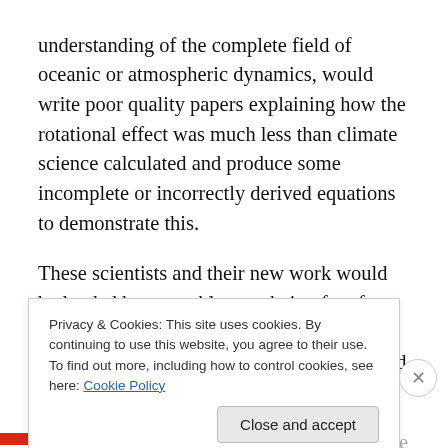understanding of the complete field of oceanic or atmospheric dynamics, would write poor quality papers explaining how the rotational effect was much less than climate science calculated and produce some incomplete or incorrectly derived equations to demonstrate this.
These scientists and their new work would be lauded by many blogs as being free from the simplistic assumptions that has dogged climate science and yes, finally, accurate and high quality work has been done!
Other blogs would claim that climate science was ignoring
Privacy & Cookies: This site uses cookies. By continuing to use this website, you agree to their use.
To find out more, including how to control cookies, see here: Cookie Policy